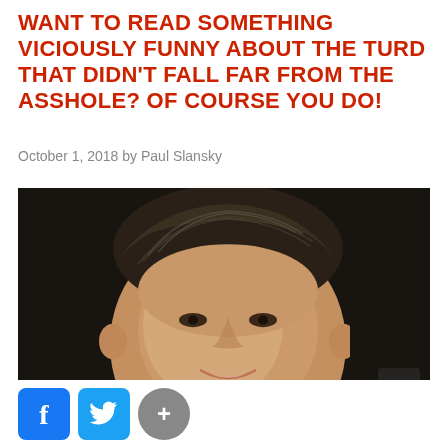WANT TO READ SOMETHING VICIOUSLY FUNNY ABOUT THE TURD THAT DIDN'T FALL FAR FROM THE ASSHOLE? OF COURSE YOU DO!
October 1, 2018 by Paul Slansky
[Figure (photo): Close-up photo of a man with dark slicked-back hair, smiling slightly, against a dark background]
[Figure (other): Social media share buttons: Facebook (blue f icon), Twitter (blue bird icon), and a grey plus/more button]